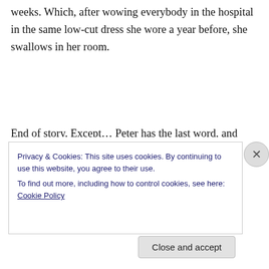weeks. Which, after wowing everybody in the hospital in the same low-cut dress she wore a year before, she swallows in her room.
End of story. Except… Peter has the last word, and reveals perhaps more about himself than he intended. He's lost Stella, he knows that – but, somehow, not entirely. In the last sentences of the novel there's a twist.
Privacy & Cookies: This site uses cookies. By continuing to use this website, you agree to their use.
To find out more, including how to control cookies, see here: Cookie Policy
Close and accept